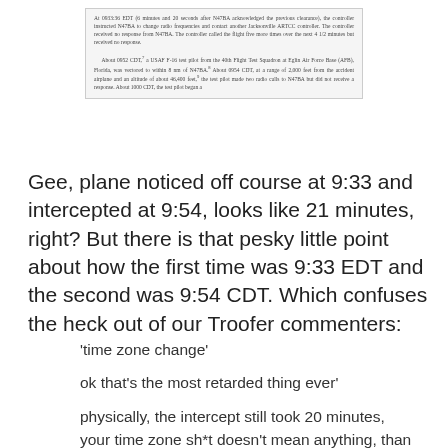[Figure (screenshot): Scanned text excerpt from a report about N47BA flight incident: controller instructing frequency change, no response received, and a USAF F-16 test pilot from the 40th Flight Test Squadron at Eglin Air Force Base approaching N47BA.]
Gee, plane noticed off course at 9:33 and intercepted at 9:54, looks like 21 minutes, right? But there is that pesky little point about how the first time was 9:33 EDT and the second was 9:54 CDT. Which confuses the heck out of our Troofer commenters:
'time zone change'
ok that's the most retarded thing ever'
physically, the intercept still took 20 minutes, your time zone sh*t doesn't mean anything, than you AGAIN playing with words...